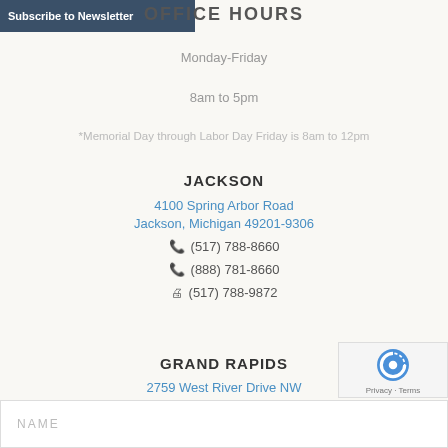Subscribe to Newsletter
OFFICE HOURS
Monday-Friday
8am to 5pm
*Memorial Day through Labor Day Friday is 8am to 12pm
JACKSON
4100 Spring Arbor Road
Jackson, Michigan 49201-9306
(517) 788-8660
(888) 781-8660
(517) 788-9872
GRAND RAPIDS
2759 West River Drive NW
Grand Rapids, Michigan 49544-2013
(616) 361-0011
(616) 361-0154